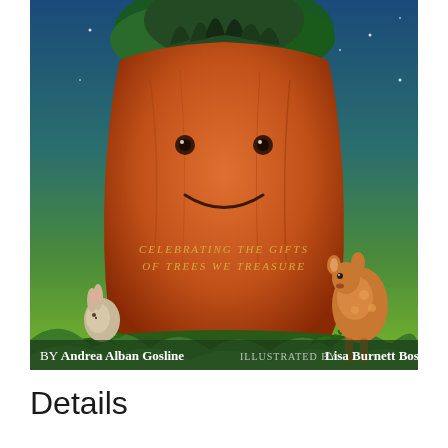[Figure (illustration): Book cover illustration showing a large friendly tree stump with a face (eyes and smile), surrounded by forest greenery, a rabbit on the left and a deer on the right, against a starry blue-green night sky. Text on the tree reads 'Celebrating the Gifts of Trees We Treasure'. Author name at bottom: 'by Andrea Alban Gosline' and 'Illustrated by Lisa Burnett Bos[s]'.]
Details